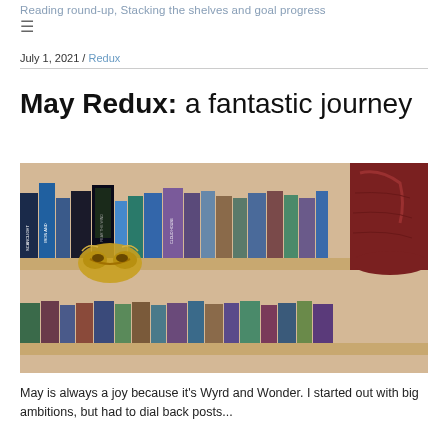Reading round-up, Stacking the shelves and goal progress
July 1, 2021 / Redux
May Redux: a fantastic journey
[Figure (photo): A bookshelf filled with fantasy novels, with a gold masquerade mask on the shelf and a large dark red boot visible on the right side. The bottom shelf shows more books.]
May is always a joy because it's Wyrd and Wonder. I started out with big ambitions, but had to dial back posts...